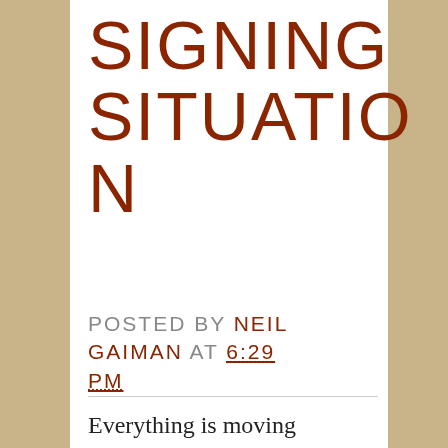SIGNING SITUATION
POSTED BY NEIL GAIMAN AT 6:29 PM
Everything is moving along towards